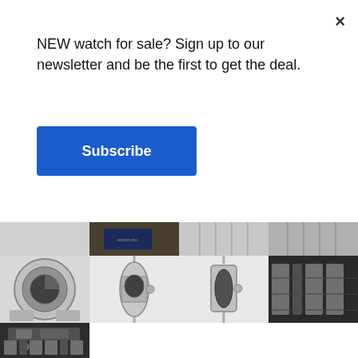NEW watch for sale? Sign up to our newsletter and be the first to get the deal.
Subscribe
[Figure (photo): Grid of Breitling watch product photos showing case back, side profiles, bracelet details and clasp on various backgrounds]
×